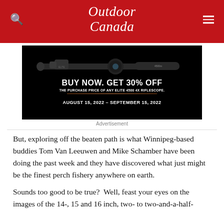Outdoor Canada
[Figure (photo): Advertisement for Bushnell Elite 4500 4X riflescope showing 'BUY NOW. GET 30% OFF THE PURCHASE PRICE OF ANY ELITE 4500 4X RIFLESCOPE. AUGUST 15, 2022 – SEPTEMBER 15, 2022']
Advertisement
But, exploring off the beaten path is what Winnipeg-based buddies Tom Van Leeuwen and Mike Schamber have been doing the past week and they have discovered what just might be the finest perch fishery anywhere on earth.
Sounds too good to be true?  Well, feast your eyes on the images of the 14-, 15 and 16 inch, two- to two-and-a-half-